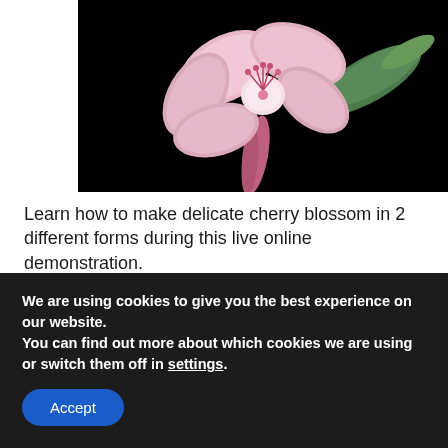[Figure (photo): A pink cherry blossom flower with petals and stamens against a black background, with a green leaf visible]
Learn how to make delicate cherry blossom in 2 different forms during this live online demonstration.
🌸  Introductory Video Lesson on how to dye
We are using cookies to give you the best experience on our website.
You can find out more about which cookies we are using or switch them off in settings.
Accept